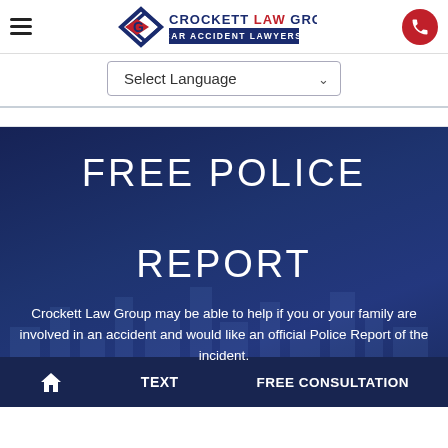Crockett Law Group — Car Accident Lawyers
Select Language
FREE POLICE REPORT
Crockett Law Group may be able to help if you or your family are involved in an accident and would like an official Police Report of the incident.
Home | TEXT | FREE CONSULTATION